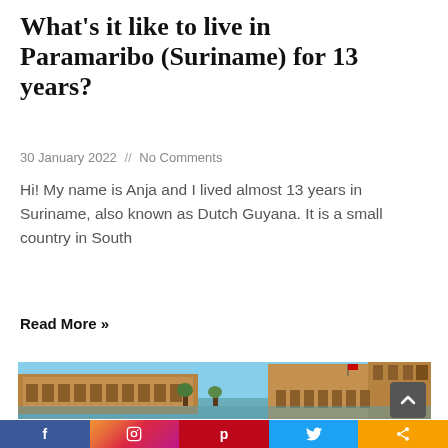What's it like to live in Paramaribo (Suriname) for 13 years?
30 January 2022 // No Comments
Hi! My name is Anja and I lived almost 13 years in Suriname, also known as Dutch Guyana. It is a small country in South
Read More »
[Figure (photo): Photo of Plaza de España, Seville - a large ornate semi-circular brick building with arched colonnades reflected in a canal, under a blue sky]
f  [instagram]  p  [twitter]  [share]